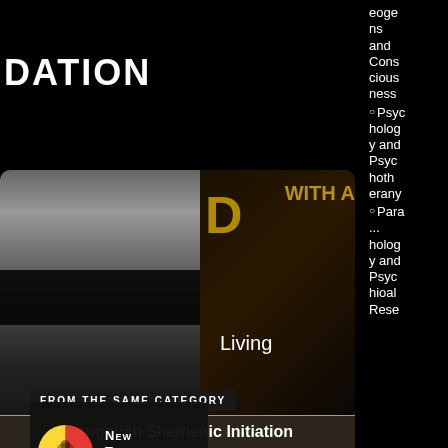DATION
[Figure (screenshot): Screenshot of a podcast or video page showing 'Living A Daimon with Bernardo Kastrup' with a close-up face image on left and dark background with yellow 'D' text on right]
Living
A Daimon with Bernardo Kastrup
eoge
ns
and
Cons
cious
ness
Psyc
holog
y and
Psyc
hoth
erany
Para
...
holog
y and
Psyc
hioal
Rese
FROM THE SAME CATEGORY
[Figure (logo): Thinking Allowed logo - colorful circular logo with New Thinking Allowed text]
[Figure (photo): Photo related to Mongolian Shamanic Initiation with blue text overlay]
Mongolian Shamanic Initiation